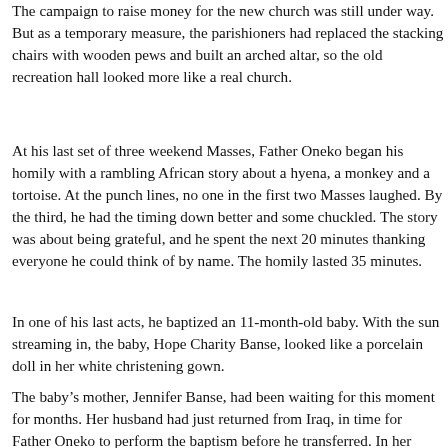The campaign to raise money for the new church was still under way. But as a temporary measure, the parishioners had replaced the stacking chairs with wooden pews and built an arched altar, so the old recreation hall looked more like a real church.
At his last set of three weekend Masses, Father Oneko began his homily with a rambling African story about a hyena, a monkey and a tortoise. At the punch lines, no one in the first two Masses laughed. By the third, he had the timing down better and some chuckled. The story was about being grateful, and he spent the next 20 minutes thanking everyone he could think of by name. The homily lasted 35 minutes.
In one of his last acts, he baptized an 11-month-old baby. With the sun streaming in, the baby, Hope Charity Banse, looked like a porcelain doll in her white christening gown.
The baby's mother, Jennifer Banse, had been waiting for this moment for months. Her husband had just returned from Iraq, in time for Father Oneko to perform the baptism before he transferred. In her husband's absence, Father Oneko had